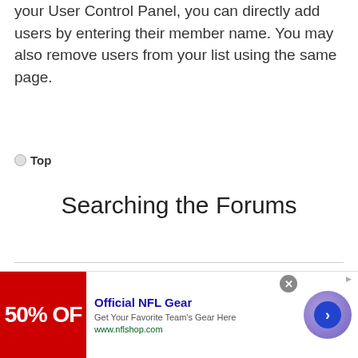your User Control Panel, you can directly add users by entering their member name. You may also remove users from your list using the same page.
Top
Searching the Forums
How can I search a forum or forums?
Enter a search term in the
[Figure (infographic): Advertisement banner for Official NFL Gear showing 50% OFF with red background, text 'Official NFL Gear - Get Your Favorite Team's Gear Here - www.nflshop.com' and a blue arrow button]